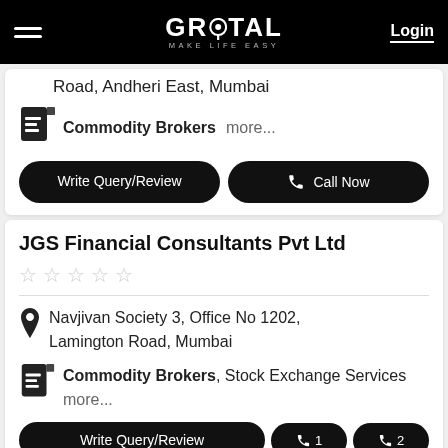GROTAL MAKE LIFE EASY | Login
Road, Andheri East, Mumbai
Commodity Brokers more...
Write Query/Review | Call Now
JGS Financial Consultants Pvt Ltd
★★★★★ (empty stars)
Navjivan Society 3, Office No 1202, Lamington Road, Mumbai
Commodity Brokers, Stock Exchange Services more...
Write Query/Review | 1 | 2